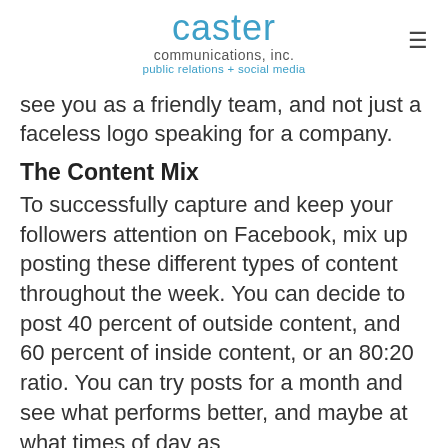caster communications, inc. public relations + social media
see you as a friendly team, and not just a faceless logo speaking for a company.
The Content Mix
To successfully capture and keep your followers attention on Facebook, mix up posting these different types of content throughout the week. You can decide to post 40 percent of outside content, and 60 percent of inside content, or an 80:20 ratio. You can try posts for a month and see what performs better, and maybe at what times of day as